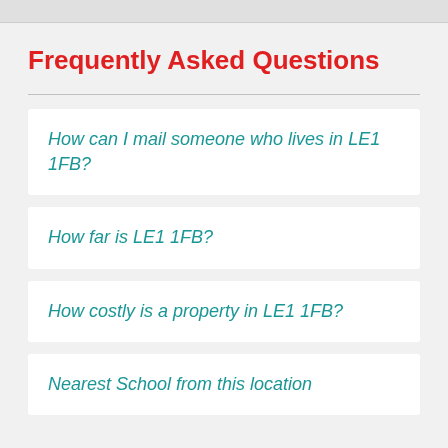Frequently Asked Questions
How can I mail someone who lives in LE1 1FB?
How far is LE1 1FB?
How costly is a property in LE1 1FB?
Nearest School from this location